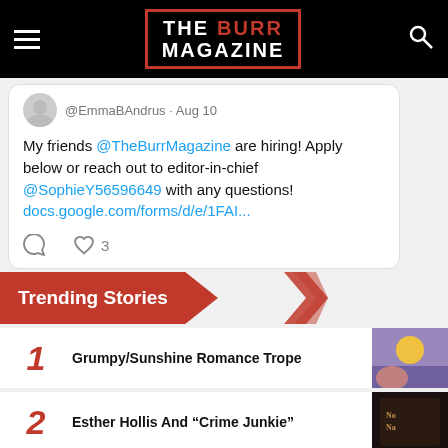THE BURR MAGAZINE
[Figure (screenshot): Tweet from @EmmaBAndrus Aug 10: My friends @TheBurrMagazine are hiring! Apply below or reach out to editor-in-chief @SophieY56596649 with any questions! docs.google.com/forms/d/e/1FAI... Likes: 3]
Trending Stories
1 Grumpy/Sunshine Romance Trope
2 Esther Hollis And “Crime Junkie”